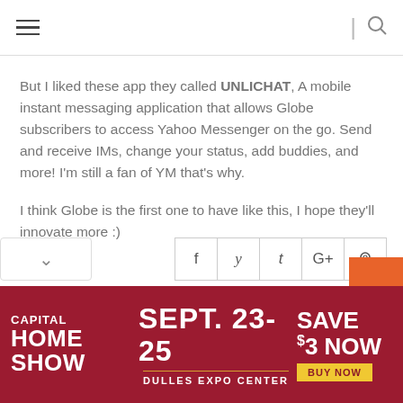Navigation header with hamburger menu and search icon
But I liked these app they called UNLICHAT, A mobile instant messaging application that allows Globe subscribers to access Yahoo Messenger on the go. Send and receive IMs, change your status, add buddies, and more! I'm still a fan of YM that's why.
I think Globe is the first one to have like this, I hope they'll innovate more :)
[Figure (infographic): Social share buttons: Facebook, Twitter, Tumblr, Google+, Pinterest]
[Figure (infographic): Capital Home Show advertisement banner: SEPT. 23-25, DULLES EXPO CENTER, SAVE $3 NOW, BUY NOW]